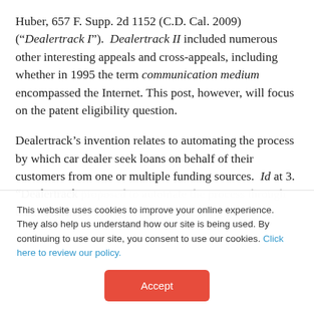Huber, 657 F. Supp. 2d 1152 (C.D. Cal. 2009) ("Dealertrack I"). Dealertrack II included numerous other interesting appeals and cross-appeals, including whether in 1995 the term communication medium encompassed the Internet. This post, however, will focus on the patent eligibility question.
Dealertrack's invention relates to automating the process by which car dealer seek loans on behalf of their customers from one or multiple funding sources. Id at 3. "Dealertrack proposed to automate the process through the use of a
This website uses cookies to improve your online experience. They also help us understand how our site is being used. By continuing to use our site, you consent to use our cookies. Click here to review our policy.